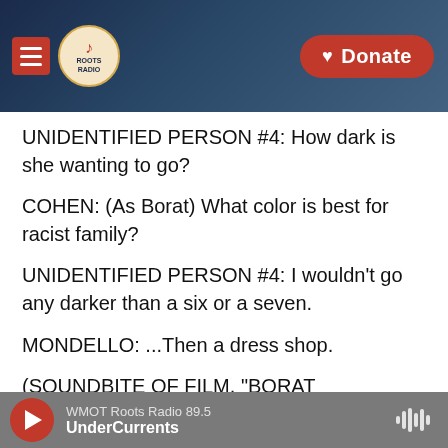[Figure (screenshot): Website header for WMOT Roots Radio with hamburger menu icon, Roots Radio logo, and red Donate button on dark blue background]
UNIDENTIFIED PERSON #4: How dark is she wanting to go?
COHEN: (As Borat) What color is best for racist family?
UNIDENTIFIED PERSON #4: I wouldn't go any darker than a six or a seven.
MONDELLO: ...Then a dress shop.
(SOUNDBITE OF FILM, "BORAT SUBSEQUENT MOVIEFILM")
WMOT Roots Radio 89.5 | UnderCurrents